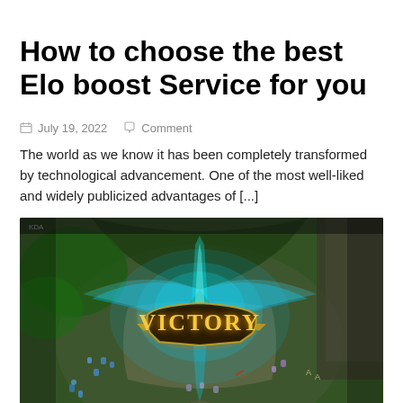How to choose the best Elo boost Service for you
July 19, 2022   Comment
The world as we know it has been completely transformed by technological advancement. One of the most well-liked and widely publicized advantages of [...]
[Figure (screenshot): League of Legends game screenshot showing a 'VICTORY' screen with glowing blue magical effects over a battlefield map with small character sprites]